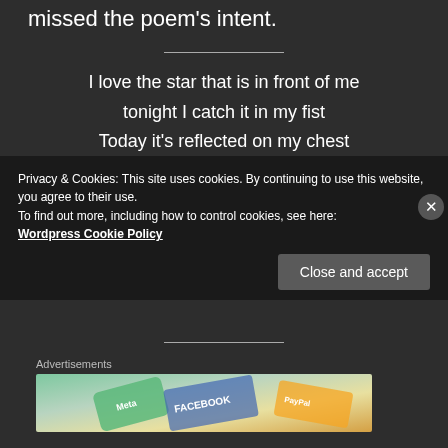missed the poem's intent.
I love the star that is in front of me
tonight I catch it in my fist
Today it's reflected on my chest
I decide, I want to dive
in the blue water of the sea (of its eyes)
Advertisements
[Figure (photo): Advertisement image showing Meta and Facebook branding alongside other card/payment elements]
Privacy & Cookies: This site uses cookies. By continuing to use this website, you agree to their use.
To find out more, including how to control cookies, see here:
Wordpress Cookie Policy
Close and accept